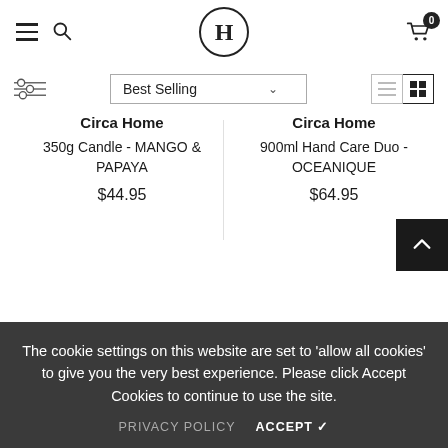H (logo) — navigation header with hamburger menu, search, logo H in circle, cart with 0 items
[Figure (screenshot): Filter/sort bar with filter sliders icon, Best Selling dropdown, list and grid view toggle icons]
Circa Home
350g Candle - MANGO & PAPAYA
$44.95
Circa Home
900ml Hand Care Duo - OCEANIQUE
$64.95
The cookie settings on this website are set to 'allow all cookies' to give you the very best experience. Please click Accept Cookies to continue to use the site.
PRIVACY POLICY   ACCEPT ✓